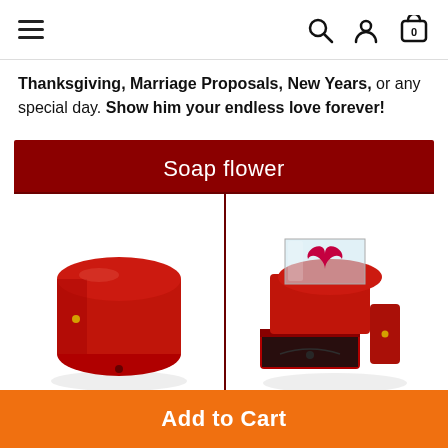Navigation bar with hamburger menu, search, account, and cart icons
Thanksgiving, Marriage Proposals, New Years, or any special day. Show him your endless love forever!
[Figure (photo): Product showcase section with dark red background labeled 'Soap flower', showing two side-by-side photos: left photo shows a closed red cylindrical jewelry box, right photo shows the same box open with a heart-shaped soap flower on top and a necklace in the drawer below.]
Add to Cart